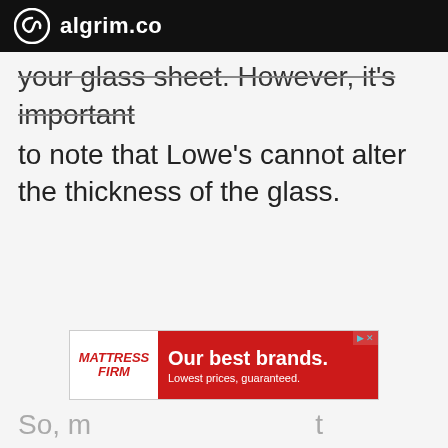algrim.co
your glass sheet. However, it's important to note that Lowe's cannot alter the thickness of the glass.
[Figure (other): Advertisement banner for Mattress Firm: 'Our best brands. Lowest prices, guaranteed.']
So, m...t